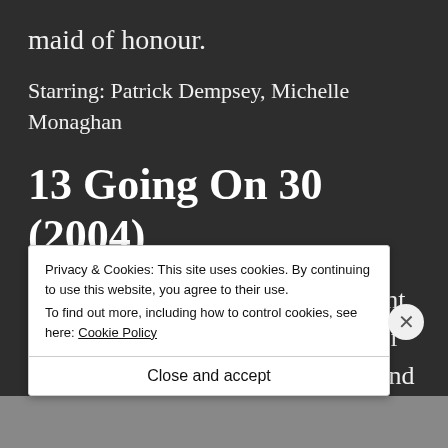maid of honour.
Starring: Patrick Dempsey, Michelle Monaghan
13 Going On 30 (2004)
Jenna and Matty were always meant to be. Well especially because older Matty is played by Mark Ruffalo and well...
Privacy & Cookies: This site uses cookies. By continuing to use this website, you agree to their use.
To find out more, including how to control cookies, see here: Cookie Policy
Close and accept